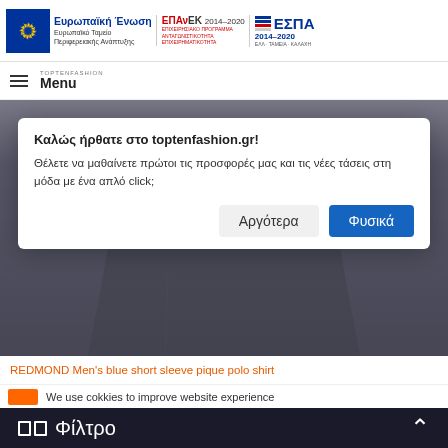Ευρωπαϊκή Ένωση • ΕΠΑνΕΚ 2014–2020 • ΕΣΠΑ 2014–2020
[Figure (screenshot): Greek e-commerce website toptenfashion.gr showing a cookie/notification popup dialog with 'Αργότερα' and 'Φυσικά' buttons, product image of a navy polo shirt, and EU funding logos in header]
Καλώς ήρθατε στο toptenfashion.gr!
Θέλετε να μαθαίνετε πρώτοι τις προσφορές μας και τις νέες τάσεις στη μόδα με ένα απλό click;
Αργότερα
Φυσικά
REDMOND Men's blue short sleeve pique polo shirt
We use cokkies to improve website experience
Φίλτρο